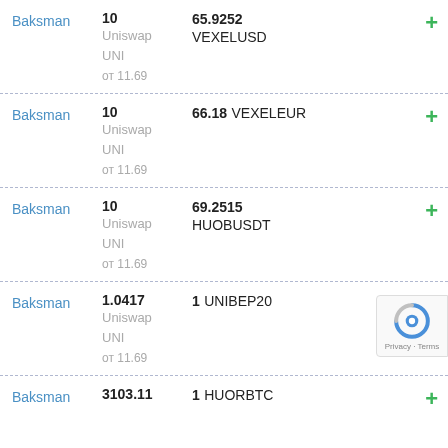| Exchange | Give | Get | Action |
| --- | --- | --- | --- |
| Baksman | 10
Uniswap UNI
от 11.69 | 65.9252 VEXELUSD | + |
| Baksman | 10
Uniswap UNI
от 11.69 | 66.18 VEXELEUR | + |
| Baksman | 10
Uniswap UNI
от 11.69 | 69.2515 HUOBUSDT | + |
| Baksman | 1.0417
Uniswap UNI
от 11.69 | 1 UNIBEP20 | + |
| Baksman | 3103.11 | 1 HUORBTC | + |